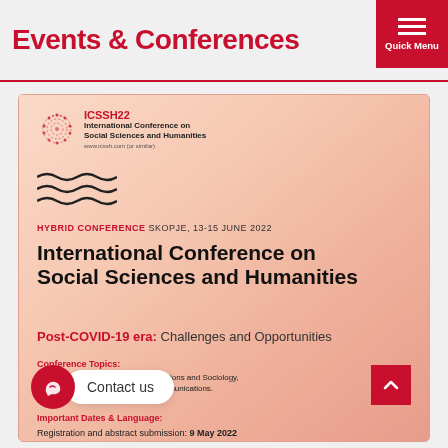Events & Conferences
[Figure (infographic): ICSSH22 International Conference on Social Sciences and Humanities event card with conference logo, wave decorations, hybrid conference label, main title, subtitle about Post-COVID-19 era, conference topics, and important dates. Background shows faded reddish-pink artistic imagery.]
International Conference on Social Sciences and Humanities
Post-COVID-19 era: Challenges and Opportunities
Conference Topics:
Business Sciences, International Relations and Sociology, Digital transformation and Communications.
Important Dates & Language:
Registration and abstract submission: 9 May 2022